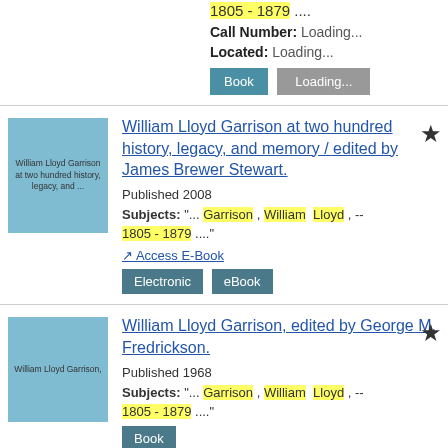1805-1879 ....
Call Number: Loading...
Located: Loading...
Book | Loading...
William Lloyd Garrison at two hundred history, legacy, and memory / edited by James Brewer Stewart.
Published 2008
Subjects: "... Garrison, William Lloyd, -- 1805-1879 ...."
Access E-Book
Electronic | eBook
William Lloyd Garrison, edited by George M. Fredrickson.
Published 1968
Subjects: "... Garrison, William Lloyd, -- 1805-1879 ...."
Book